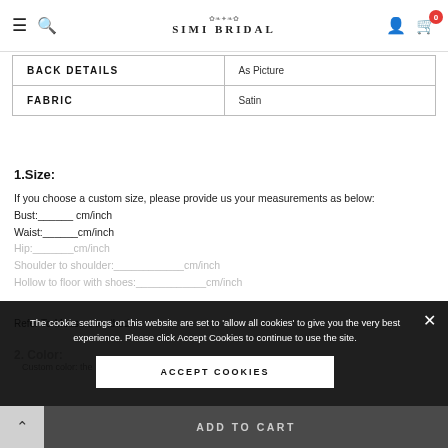SIMI BRIDAL — navigation with hamburger, search, user, cart (0)
|  |  |
| --- | --- |
| BACK DETAILS | As Picture |
| FABRIC | Satin |
1.Size:
If you choose a custom size, please provide us your measurements as below:
Bust:______ cm/inch
Waist:______cm/inch
Hip:_______cm/inch
Shoulder to shoulder:____________cm/inch
Hollow to floor with shoes:____________cm/inch
Refer To Measure method
2. Color:
Custom color: the
The cookie settings on this website are set to 'allow all cookies' to give you the very best experience. Please click Accept Cookies to continue to use the site. ACCEPT COOKIES